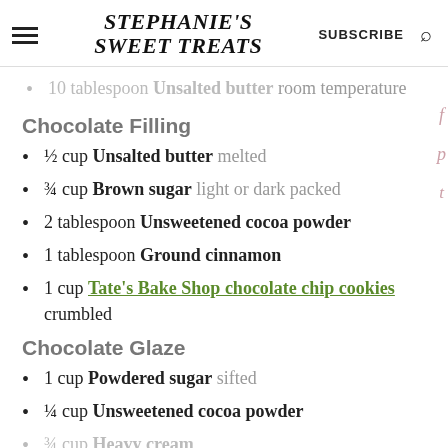STEPHANIE'S SWEET TREATS | SUBSCRIBE
10 tablespoon Unsalted butter room temperature
Chocolate Filling
½ cup Unsalted butter melted
¾ cup Brown sugar light or dark packed
2 tablespoon Unsweetened cocoa powder
1 tablespoon Ground cinnamon
1 cup Tate's Bake Shop chocolate chip cookies crumbled
Chocolate Glaze
1 cup Powdered sugar sifted
¼ cup Unsweetened cocoa powder
¾ cup Heavy cream